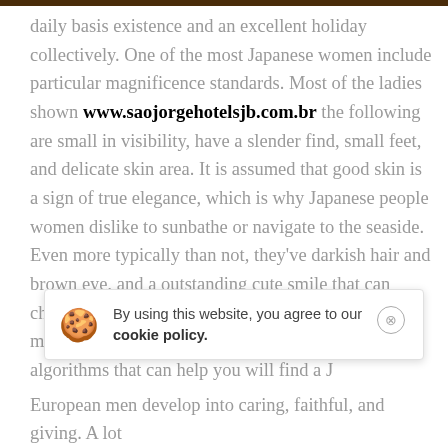daily basis existence and an excellent holiday collectively. One of the most Japanese women include particular magnificence standards. Most of the ladies shown www.saojorgehotelsjb.com.br the following are small in visibility, have a slender find, small feet, and delicate skin area. It is assumed that good skin is a sign of true elegance, which is why Japanese people women dislike to sunbathe or navigate to the seaside. Even more typically than not, they've darkish hair and brown eye, and a outstanding cute smile that can choose your heart beat quicker. Also, trendy matrimonial companies use among the best search algorithms that can help you will find a J
[Figure (screenshot): Cookie consent banner with cookie emoji icon, text 'By using this website, you agree to our cookie policy.' and a close button]
European men develop into caring, faithful, and giving. A lot